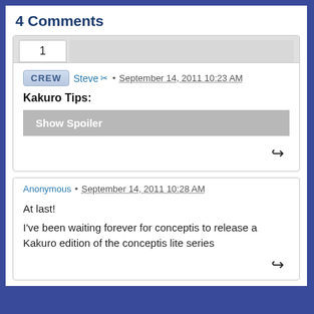4 Comments
CREW  Steve  •  September 14, 2011 10:23 AM
Kakuro Tips:
Show Spoiler
Anonymous • September 14, 2011 10:28 AM
At last!

I've been waiting forever for conceptis to release a Kakuro edition of the conceptis lite series